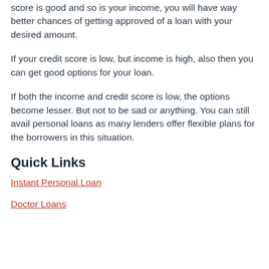score is good and so is your income, you will have way better chances of getting approved of a loan with your desired amount.
If your credit score is low, but income is high, also then you can get good options for your loan.
If both the income and credit score is low, the options become lesser. But not to be sad or anything. You can still avail personal loans as many lenders offer flexible plans for the borrowers in this situation.
Quick Links
Instant Personal Loan
Doctor Loans